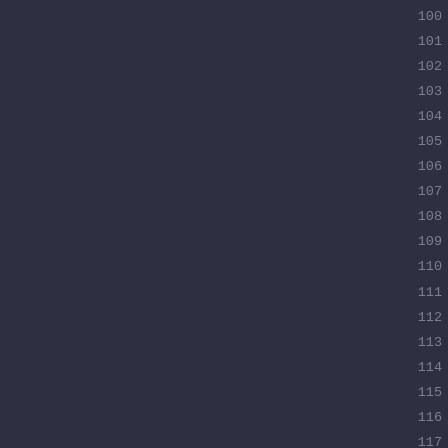100 101 102 103 104 105 106 107 108 109 110 111 112 113 114 115 116 117 118 119 120 121